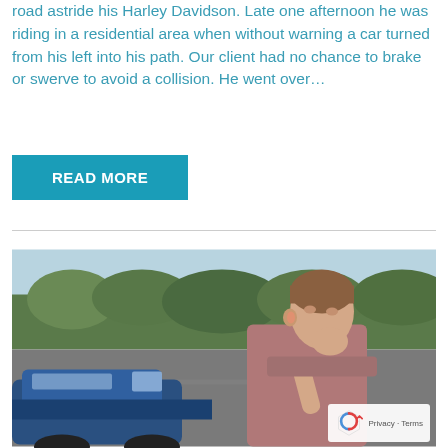road astride his Harley Davidson. Late one afternoon he was riding in a residential area when without warning a car turned from his left into his path. Our client had no chance to brake or swerve to avoid a collision. He went over…
READ MORE
[Figure (photo): Young man in a pink/mauve sleeveless top holding the back of his neck in pain, standing in front of a blue car on a road with trees and hedges in the background. A reCAPTCHA badge is visible in the bottom right corner.]